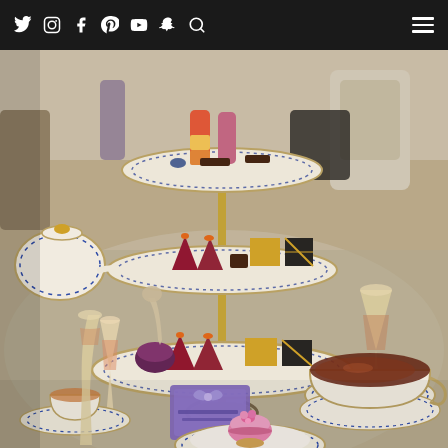Navigation bar with social media icons: Twitter, Instagram, Facebook, Pinterest, YouTube, Snapchat, Search, and hamburger menu
[Figure (photo): Overhead view of an elegant afternoon tea setting on a glass table. Features a three-tiered cake stand with decorative patterned plates holding red velvet-style pastries, macarons, chocolate treats, and layered dessert glasses. Surrounding the stand are champagne flutes with rose champagne, ornate blue and white patterned teacups and saucers, a decorative teapot, and a small purple gift card with a bow. A cup of dark tea and a single pink macaron on a plate are visible in the foreground. Fashion photos/cards are visible at the right side of the table.]